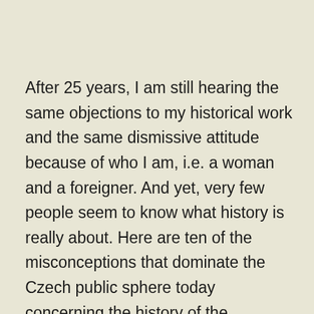After 25 years, I am still hearing the same objections to my historical work and the same dismissive attitude because of who I am, i.e. a woman and a foreigner. And yet, very few people seem to know what history is really about. Here are ten of the misconceptions that dominate the Czech public sphere today concerning the history of the communist past:
1) To try and understand what happened in the past is not the same as to morally condone it. Explanation and understanding do not result in